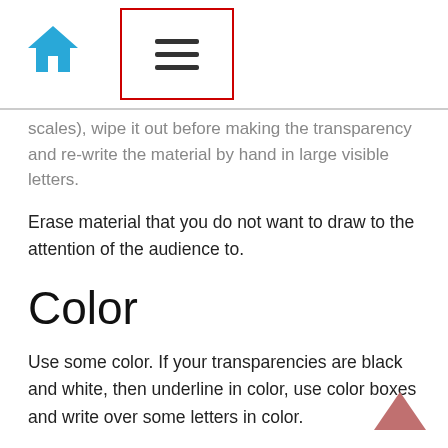[Home icon] [Menu icon]
scales), wipe it out before making the transparency and re-write the material by hand in large visible letters.
Erase material that you do not want to draw to the attention of the audience to.
Color
Use some color. If your transparencies are black and white, then underline in color, use color boxes and write over some letters in color.
Number your transparencies
Number your transparencies so that when they get